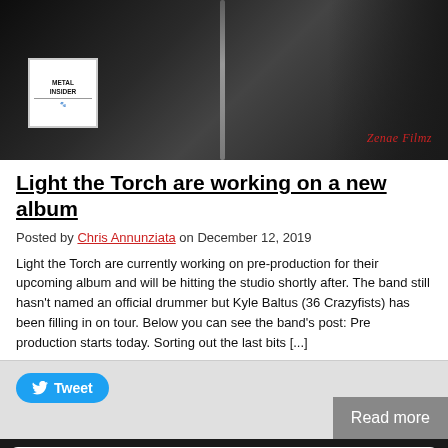[Figure (photo): Dark concert/band photo with black background, vertical microphone stand in center, Metal Insider logo in top-left corner, Zenae FilmZ watermark in bottom-right]
Light the Torch are working on a new album
Posted by Chris Annunziata on December 12, 2019
Light the Torch are currently working on pre-production for their upcoming album and will be hitting the studio shortly after. The band still hasn't named an official drummer but Kyle Baltus (36 Crazyfists) has been filling in on tour. Below you can see the band's post: Pre production starts today. Sorting out the last bits [...]
[Figure (screenshot): Tweet button and Read more button on grey background]
[Figure (infographic): Tally advertisement - Fast credit card payoff - Download Now button]